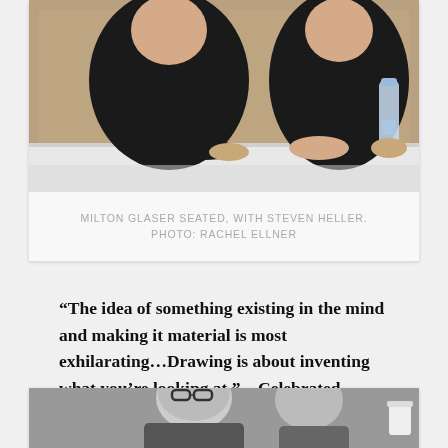[Figure (photo): Two men seated at a table, both wearing dark/black clothing. One holds a water bottle. Indoor setting with wooden panels visible in background.]
MILTON GLASER SEATED, WITH STEVEN HELLER. PHOTO: RACHEL ELLNER
“The idea of something existing in the mind and making it material is most exhilarating…Drawing is about inventing what you’re looking at.” – Celebrated graphic designer Milton Glaser
[Figure (photo): Two men in black and white photo, one wearing glasses and smiling, the other younger beside him. Indoor setting.]